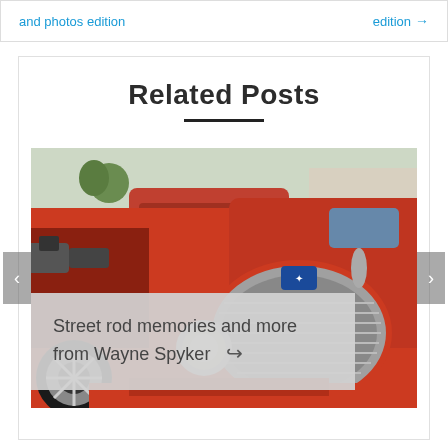and photos edition   edition →
Related Posts
[Figure (photo): Close-up photo of a red classic street rod / hot rod car, showing the front grille, headlight, and engine bay. Another red classic car is visible in the background. Photo taken in a parking lot.]
Street rod memories and more from Wayne Spyker ↪